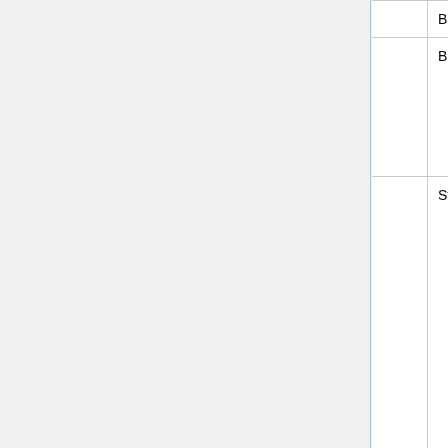| Description | Author | Type |
| --- | --- | --- |
| Fix bug in stratosperic aerosol surface area netcdf diagnostics | Jonathan Moch (Harvard) Christoph Keller (GMAO) | Bug fix |
| Update from HEMCO 2.1.010 to HEMCO 2.1.011:
• Now wrap the remaining HEMCO extensions in instances (to facilitate running in HPC environments) | GCST | Structural |